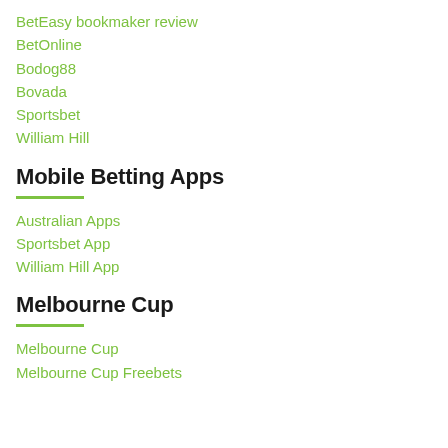BetEasy bookmaker review
BetOnline
Bodog88
Bovada
Sportsbet
William Hill
Mobile Betting Apps
Australian Apps
Sportsbet App
William Hill App
Melbourne Cup
Melbourne Cup
Melbourne Cup Freebets